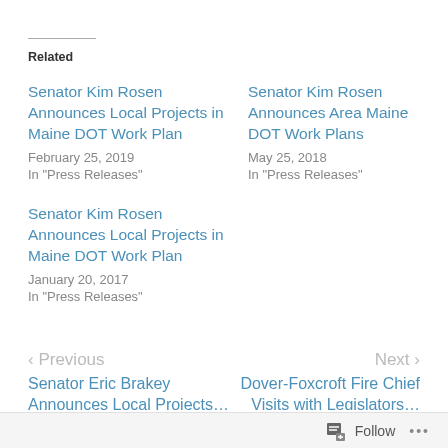Related
Senator Kim Rosen Announces Local Projects in Maine DOT Work Plan
February 25, 2019
In "Press Releases"
Senator Kim Rosen Announces Area Maine DOT Work Plans
May 25, 2018
In "Press Releases"
Senator Kim Rosen Announces Local Projects in Maine DOT Work Plan
January 20, 2017
In "Press Releases"
< Previous
Next >
Senator Eric Brakey Announces Local Projects…
Dover-Foxcroft Fire Chief Visits with Legislators…
Follow ...